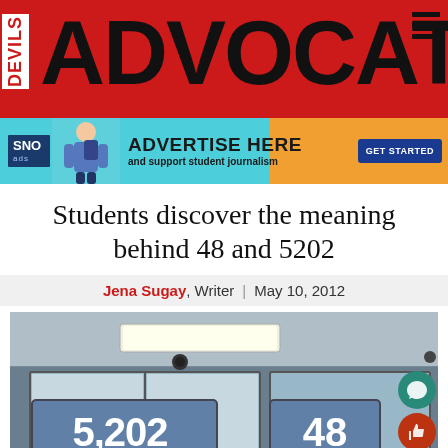[Figure (logo): Devils Advocate newspaper masthead header banner with red background and large black ADVOCATE text]
[Figure (infographic): SNO Ads advertisement banner: ADVERTISE HERE and support student journalism, GET STARTED button, student with backpack pointing]
Students discover the meaning behind 48 and 5202
Jena Sugay, Writer | May 10, 2012
[Figure (photo): Interior hallway or classroom photo showing ceiling with fluorescent lights, and large signs displaying numbers 5,202 and 48]